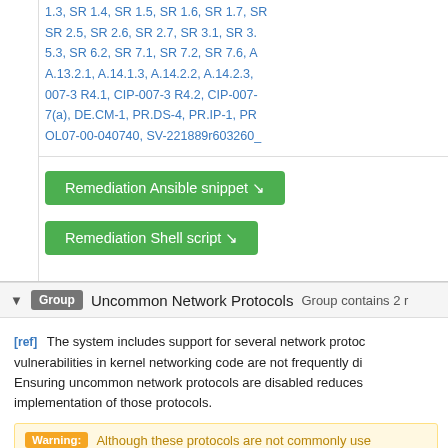1.3, SR 1.4, SR 1.5, SR 1.6, SR 1.7, SR 2.5, SR 2.6, SR 2.7, SR 3.1, SR 3. 5.3, SR 6.2, SR 7.1, SR 7.2, SR 7.6, A A.13.2.1, A.14.1.3, A.14.2.2, A.14.2.3, 007-3 R4.1, CIP-007-3 R4.2, CIP-007- 7(a), DE.CM-1, PR.DS-4, PR.IP-1, PR OL07-00-040740, SV-221889r603260_
Remediation Ansible snippet ↗
Remediation Shell script ↗
Group  Uncommon Network Protocols  Group contains 2 r
[ref] The system includes support for several network proto... vulnerabilities in kernel networking code are not frequently di... Ensuring uncommon network protocols are disabled reduces implementation of those protocols.
Warning: Although these protocols are not commonly use